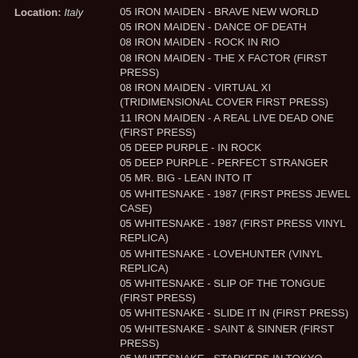Location: Italy
05 IRON MAIDEN - BRAVE NEW WORLD
05 IRON MAIDEN - DANCE OF DEATH
08 IRON MAIDEN - ROCK IN RIO
08 IRON MAIDEN - THE X FACTOR (FIRST PRESS)
08 IRON MAIDEN - VIRTUAL XI (TRIDIMENSIONAL COVER FIRST PRESS)
11 IRON MAIDEN - A REAL LIVE DEAD ONE (FIRST PRESS)
05 DEEP PURPLE - IN ROCK
05 DEEP PURPLE - PERFECT STRANGER
05 MR. BIG - LEAN INTO IT
05 WHITESNAKE - 1987 (FIRST PRESS JEWEL CASE)
05 WHITESNAKE - 1987 (FIRST PRESS VINYL REPLICA)
05 WHITESNAKE - LOVEHUNTER (VINYL REPLICA)
05 WHITESNAKE - SLIP OF THE TONGUE (FIRST PRESS)
05 WHITESNAKE - SLIDE IT IN (FIRST PRESS)
05 WHITESNAKE - SAINT & SINNER (FIRST PRESS)
05 WHITESNAKE - STARKERS IN TOKYO (FIRST PRESS)